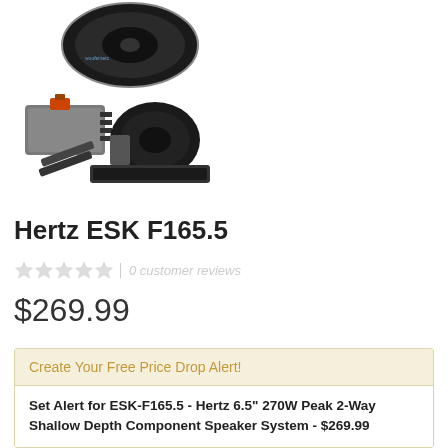[Figure (photo): Product photos of Hertz ESK F165.5 component speaker system showing speakers from top and bottom angles]
Hertz ESK F165.5
0 customer reviews
$269.99
Create Your Free Price Drop Alert!
Set Alert for ESK-F165.5 - Hertz 6.5" 270W Peak 2-Way Shallow Depth Component Speaker System - $269.99